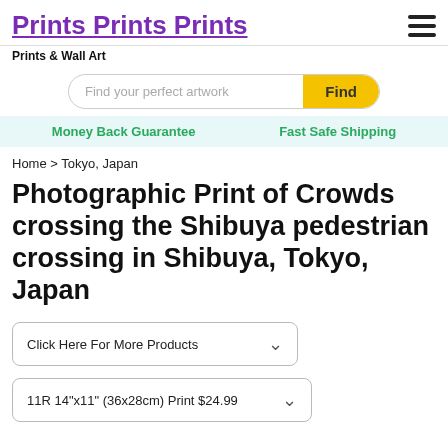Prints Prints Prints
Prints & Wall Art
Find your perfect artwork | Find
Money Back Guarantee   Fast Safe Shipping
Home > Tokyo, Japan
Photographic Print of Crowds crossing the Shibuya pedestrian crossing in Shibuya, Tokyo, Japan
Click Here For More Products
11R 14"x11" (36x28cm) Print $24.99